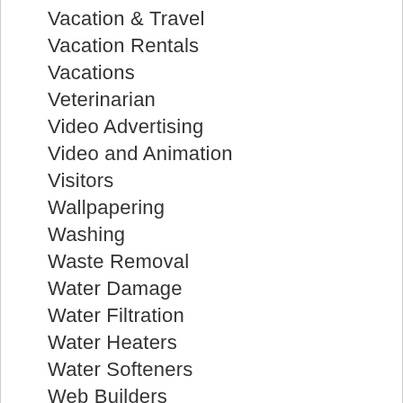Vacation & Travel
Vacation Rentals
Vacations
Veterinarian
Video Advertising
Video and Animation
Visitors
Wallpapering
Washing
Waste Removal
Water Damage
Water Filtration
Water Heaters
Water Softeners
Web Builders